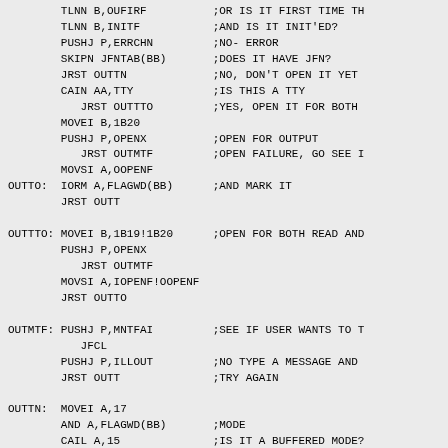Assembly source code listing with labels, instructions, operands, and comments. Includes labels: OUTTO, OUTTTO, OUTMTF, OUTTN. Instructions include TLNN, PUSHJ, SKIPN, JRST, CAIN, MOVEI, MOVSI, IORM, JFCL, AND, CAIL, HLRZ with various operands and assembly comments.